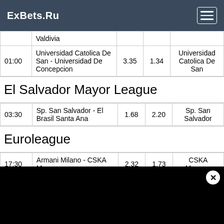ExBets.Ru
| Time | Match | Odds1 | Odds2 | Winner |
| --- | --- | --- | --- | --- |
|  | Valdivia |  |  |  |
| 01:00 | Universidad Catolica De San - Universidad De Concepcion | 3.35 | 1.34 | Universidad Catolica De San |
El Salvador Mayor League
| Time | Match | Odds1 | Odds2 | Winner |
| --- | --- | --- | --- | --- |
| 03:30 | Sp. San Salvador - El Brasil Santa Ana | 1.68 | 2.20 | Sp. San Salvador |
Euroleague
| Time | Match | Odds1 | Odds2 | Winner |
| --- | --- | --- | --- | --- |
| 17:30 | Armani Milano - CSKA Moscow | 2.32 | 1.73 | CSKA Moscow |